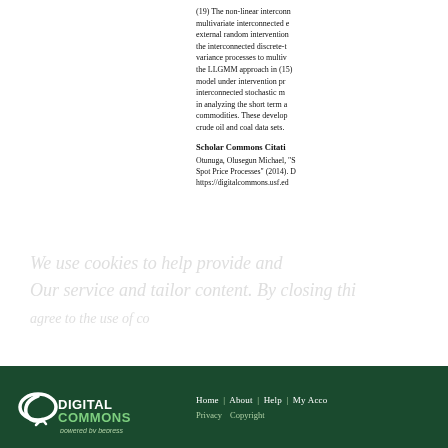(19) The non-linear interconnected multivariate interconnected external random intervention the interconnected discrete-time variance processes to multivariate the LLGMM approach in (15) model under intervention processes interconnected stochastic models in analyzing the short term and commodities. These developments crude oil and coal data sets.
Scholar Commons Citation
Otunuga, Olusegun Michael, "S Spot Price Processes" (2014). https://digitalcommons.usf.ed
Home | About | Help | My Account    Privacy  Copyright